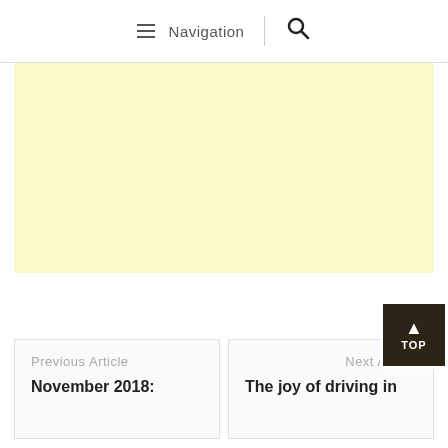Navigation | Search
[Figure (other): Yellow/cream colored advertisement or placeholder block]
Previous Article
November 2018:
Next Article
The joy of driving in